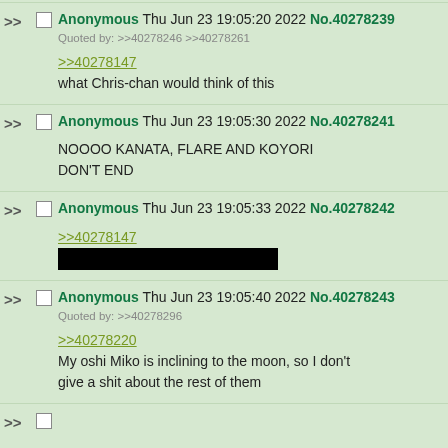Anonymous Thu Jun 23 19:05:20 2022 No.40278239
Quoted by: >>40278246 >>40278261
>>40278147
what Chris-chan would think of this
Anonymous Thu Jun 23 19:05:30 2022 No.40278241
NOOOO KANATA, FLARE AND KOYORI DON'T END
Anonymous Thu Jun 23 19:05:33 2022 No.40278242
>>40278147
[redacted]
Anonymous Thu Jun 23 19:05:40 2022 No.40278243
Quoted by: >>40278296
>>40278220
My oshi Miko is inclining to the moon, so I don't give a shit about the rest of them